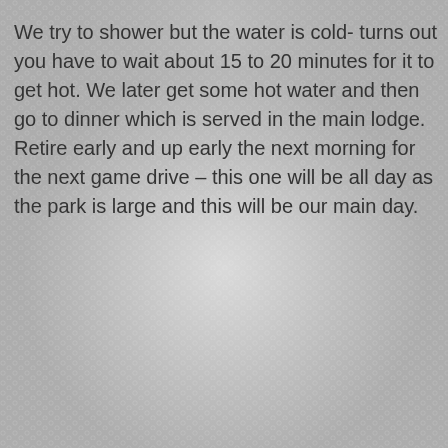We try to shower but the water is cold- turns out you have to wait about 15 to 20 minutes for it to get hot.  We later get some hot water and then go to dinner which is served in the main lodge.  Retire early and up early the next morning for the next game drive – this one will be all day as the park is large and this will be our main day.